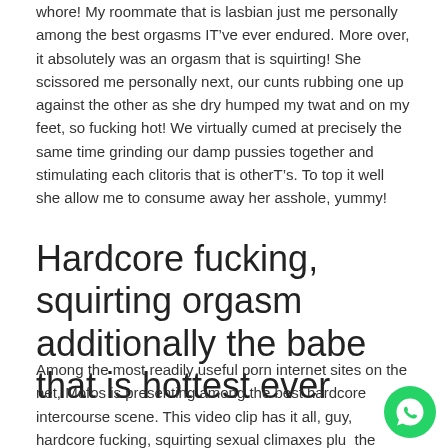whore! My roommate that is lasbian just me personally among the best orgasms I've ever endured. More over, it absolutely was an orgasm that is squirting! She scissored me personally next, our cunts rubbing one up against the other as she dry humped my twat and on my feet, so fucking hot! We virtually cumed at precisely the same time grinding our damp pussies together and stimulating each clitoris that is other's. To top it well she allow me to consume away her asshole, yummy!
Hardcore fucking, squirting orgasm additionally the babe that is hottest ever
Among the most readily useful porn internet sites on the net, Mofos is presenting among the best hardcore intercourse scene. This video clip has it all, guy, hardcore fucking, squirting sexual climaxes plus the hottest babe you are about to ever pick. She checked, first...